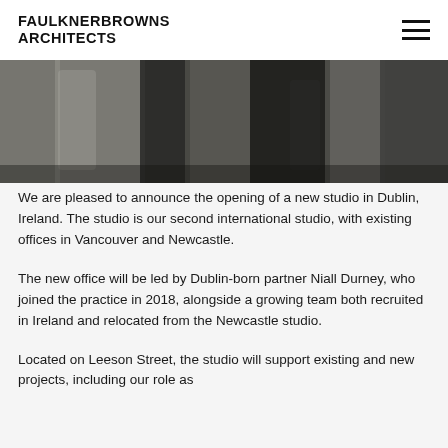FAULKNERBROWNS ARCHITECTS
[Figure (photo): Partial photo showing people standing, cropped to show lower bodies/legs, dark and moody lighting against a stone wall background]
We are pleased to announce the opening of a new studio in Dublin, Ireland. The studio is our second international studio, with existing offices in Vancouver and Newcastle.
The new office will be led by Dublin-born partner Niall Durney, who joined the practice in 2018, alongside a growing team both recruited in Ireland and relocated from the Newcastle studio.
Located on Leeson Street, the studio will support existing and new projects, including our role as